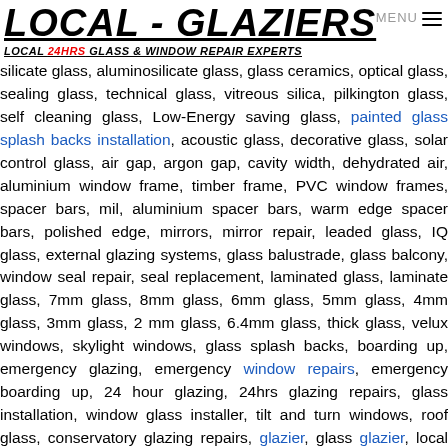LOCAL - GLAZIERS | LOCAL 24HRS GLASS & WINDOW REPAIR EXPERTS | MENU
silicate glass, aluminosilicate glass, glass ceramics, optical glass, sealing glass, technical glass, vitreous silica, pilkington glass, self cleaning glass, Low-Energy saving glass, painted glass splash backs installation, acoustic glass, decorative glass, solar control glass, air gap, argon gap, cavity width, dehydrated air, aluminium window frame, timber frame, PVC window frames, spacer bars, mil, aluminium spacer bars, warm edge spacer bars, polished edge, mirrors, mirror repair, leaded glass, IQ glass, external glazing systems, glass balustrade, glass balcony, window seal repair, seal replacement, laminated glass, laminate glass, 7mm glass, 8mm glass, 6mm glass, 5mm glass, 4mm glass, 3mm glass, 2 mm glass, 6.4mm glass, thick glass, velux windows, skylight windows, glass splash backs, boarding up, emergency glazing, emergency window repairs, emergency boarding up, 24 hour glazing, 24hrs glazing repairs, glass installation, window glass installer, tilt and turn windows, roof glass, conservatory glazing repairs, glazier, glass glazier, local glaziers, window glazier, secondary glazing, glass splashbacks, window replacement, emergency glaziers, door glass replacement, windo